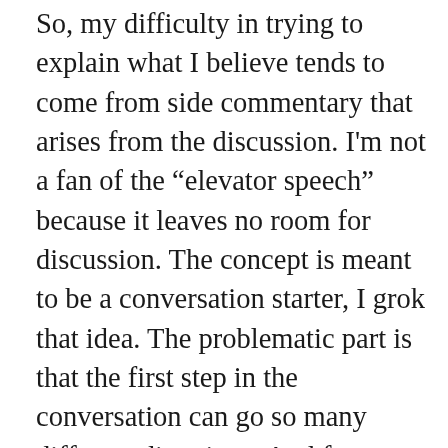So, my difficulty in trying to explain what I believe tends to come from side commentary that arises from the discussion. I'm not a fan of the “elevator speech” because it leaves no room for discussion. The concept is meant to be a conversation starter, I grok that idea. The problematic part is that the first step in the conversation can go so many different directions. And for me, that is the real beauty of a conversation. I don’t need the other side to wait the one or two minutes for me to vomit out a prepared statement. Interrupt.